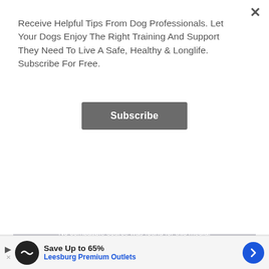Receive Helpful Tips From Dog Professionals. Let Your Dogs Enjoy The Right Training And Support They Need To Live A Safe, Healthy & Longlife. Subscribe For Free.
Subscribe
Check Lowest Price Now!
SALE NO. 3
[Figure (photo): TropiClean shampoo bottle with papaya and coconut fruits in water splash background]
No compatible source was found for this media.
Save Up to 65%
Leesburg Premium Outlets